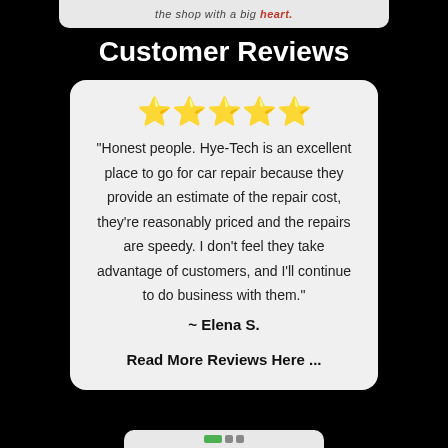the shop with a big heart.
Customer Reviews
[Figure (other): Five gold star emoji rating]
"Honest people. Hye-Tech is an excellent place to go for car repair because they provide an estimate of the repair cost, they're reasonably priced and the repairs are speedy. I don't feel they take advantage of customers, and I'll continue to do business with them."
~ Elena S.
Read More Reviews Here ...